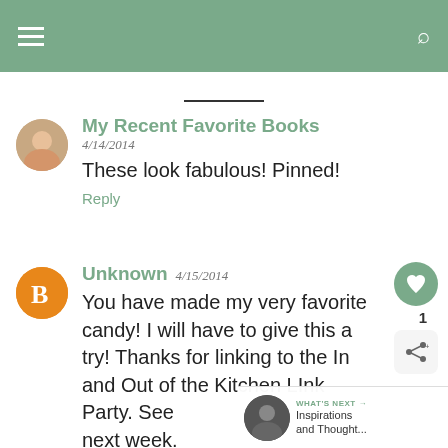My Recent Favorite Books
4/14/2014
These look fabulous! Pinned!
Reply
Unknown 4/15/2014
You have made my very favorite candy! I will have to give this a try! Thanks for linking to the In and Out of the Kitchen LInk Party. See next week.